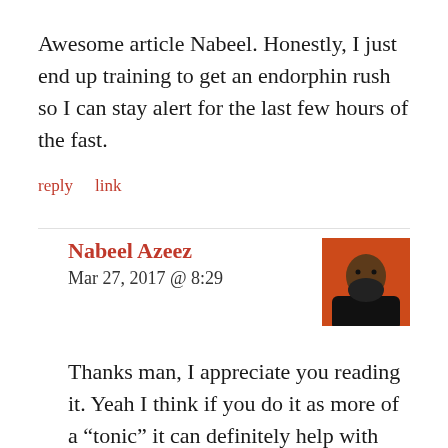Awesome article Nabeel. Honestly, I just end up training to get an endorphin rush so I can stay alert for the last few hours of the fast.
reply   link
Nabeel Azeez
Mar 27, 2017 @ 8:29
[Figure (photo): Avatar photo of Nabeel Azeez — a bearded man in dark clothing against an orange/red background]
Thanks man, I appreciate you reading it. Yeah I think if you do it as more of a “tonic” it can definitely help with energy levels – that means keeping it low intensity and volume. I’m thinking of updating this piece with another training strategy